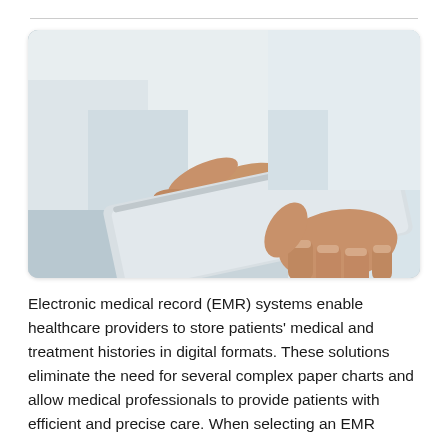[Figure (photo): Close-up photo of a person in a white shirt holding a tablet device, with one hand gripping the tablet from below and the other hand touching or tapping the screen. Background is a blurred light blue/grey interior.]
Electronic medical record (EMR) systems enable healthcare providers to store patients' medical and treatment histories in digital formats. These solutions eliminate the need for several complex paper charts and allow medical professionals to provide patients with efficient and precise care. When selecting an EMR